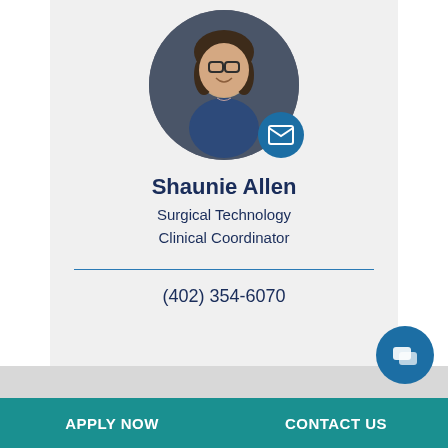[Figure (photo): Circular profile photo of Shaunie Allen, a woman with brown hair and glasses, smiling, with a blue email icon button overlaid at the bottom right of the circle]
Shaunie Allen
Surgical Technology Clinical Coordinator
(402) 354-6070
[Figure (other): Blue circular chat/messaging button icon at bottom right]
APPLY NOW    CONTACT US